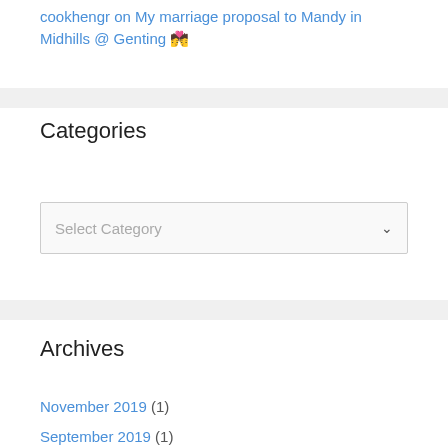cookhengs on My marriage proposal to Mandy in Midhills @ Genting 💏
Categories
Select Category
Archives
November 2019 (1)
September 2019 (1)